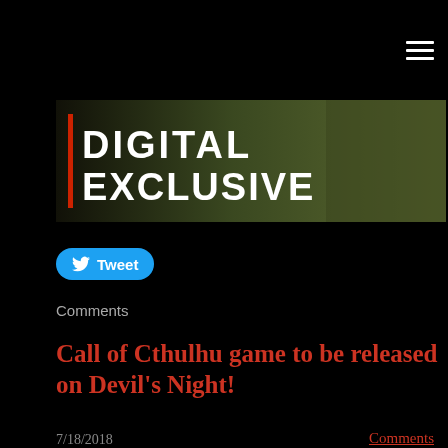Menu
[Figure (screenshot): Digital Exclusive banner image with text 'DIGITAL EXCLUSIVE' in white bold letters on dark background with red vertical bar accent]
Tweet
Comments
Call of Cthulhu game to be released on Devil's Night!
7/18/2018
Comments
[Figure (photo): Xbox One game box art for 'Call of Cthulhu' showing a man and creature on dark atmospheric background with green Xbox One header bar]